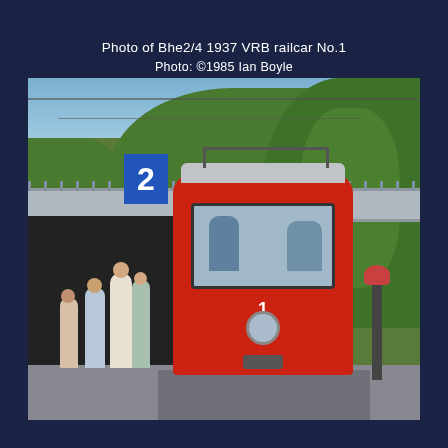Photo of Bhe2/4 1937 VRB railcar No.1
Photo: ©1985 Ian Boyle
[Figure (photo): A red VRB (Vitznau-Rigi-Bahn) railcar No.1 from 1937 arriving at a station platform, passing under a pedestrian bridge with a blue platform number '2' sign. Green foliage is visible in the background. Several passengers are standing on the platform to the left of the railcar.]